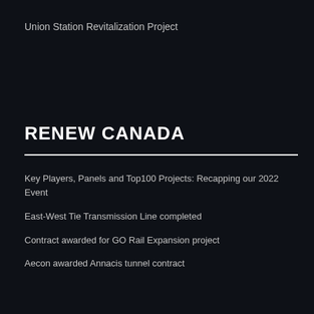Union Station Revitalization Project
RENEW CANADA
Key Players, Panels and Top100 Projects: Recapping our 2022 Event
East-West Tie Transmission Line completed
Contract awarded for GO Rail Expansion project
Aecon awarded Annacis tunnel contract